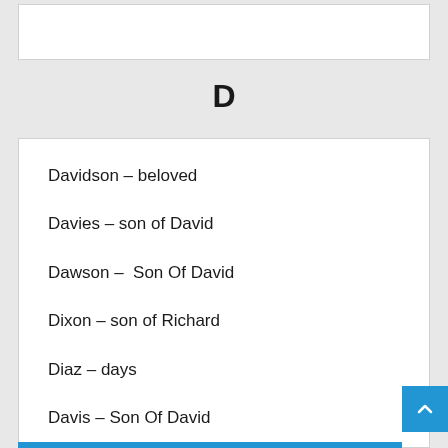D
Davidson – beloved
Davies – son of David
Dawson –  Son Of David
Dixon – son of Richard
Diaz – days
Davis – Son Of David
Dana – arbiter